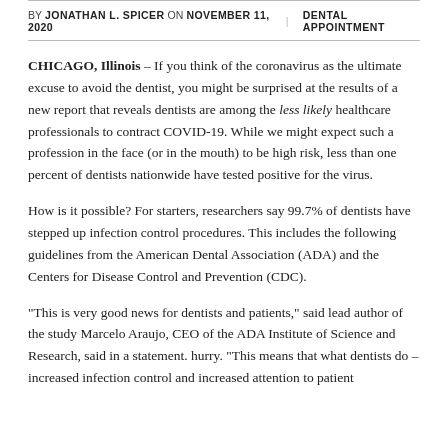BY JONATHAN L. SPICER ON NOVEMBER 11, 2020   DENTAL APPOINTMENT
CHICAGO, Illinois – If you think of the coronavirus as the ultimate excuse to avoid the dentist, you might be surprised at the results of a new report that reveals dentists are among the less likely healthcare professionals to contract COVID-19. While we might expect such a profession in the face (or in the mouth) to be high risk, less than one percent of dentists nationwide have tested positive for the virus.
How is it possible? For starters, researchers say 99.7% of dentists have stepped up infection control procedures. This includes the following guidelines from the American Dental Association (ADA) and the Centers for Disease Control and Prevention (CDC).
“This is very good news for dentists and patients,” said lead author of the study Marcelo Araujo, CEO of the ADA Institute of Science and Research, said in a statement. hurry. “This means that what dentists do – increased infection control and increased attention to patient